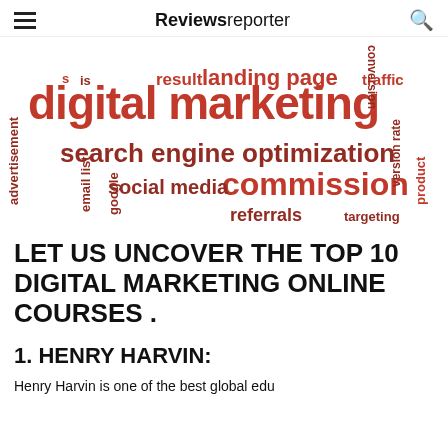Reviewsreporter
[Figure (infographic): Word cloud about digital marketing topics. Large red text: 'digital marketing', 'search engine optimization', 'commission'. Medium text: 'social media', 'referrals', 'landing page', 'result', 'traffic'. Small vertical text: 'advertisement', 'email list', 'google', 'version rate', 'product', 'targeting', 'conversion'.]
LET US UNCOVER THE TOP 10 DIGITAL MARKETING ONLINE COURSES .
1. HENRY HARVIN:
Henry Harvin is one of the best global edu